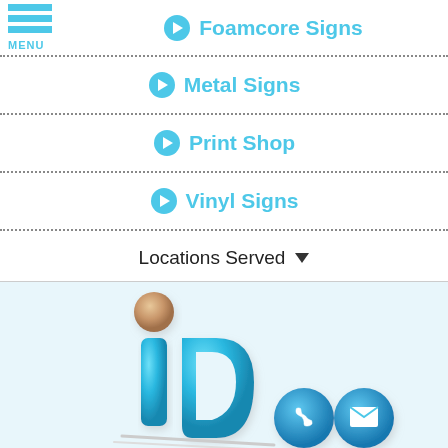➔ Foamcore Signs
➔ Metal Signs
➔ Print Shop
➔ Vinyl Signs
Locations Served ▾
[Figure (logo): Company logo with a stylized 'i' and 'D' letter in cyan/blue 3D style, with a tan/beige sphere above the 'i', plus phone and email contact icons at the bottom right]